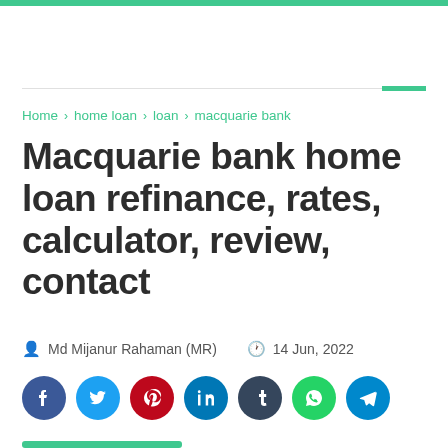Home > home loan > loan > macquarie bank
Macquarie bank home loan refinance, rates, calculator, review, contact
Md Mijanur Rahaman (MR)  14 Jun, 2022
[Figure (other): Social media share buttons: Facebook, Twitter, Pinterest, LinkedIn, Tumblr, WhatsApp, Telegram]